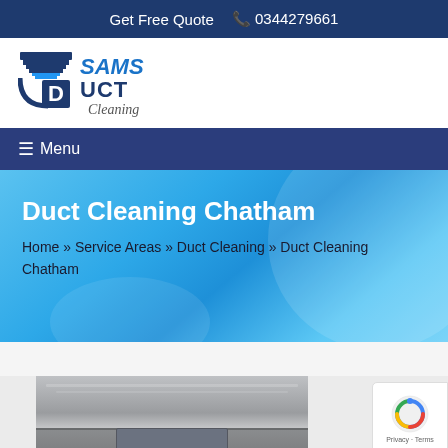Get Free Quote  📞 0344279661
[Figure (logo): SAMS Duct Cleaning logo with duct icon in dark blue and light blue text]
≡ Menu
Duct Cleaning Chatham
Home » Service Areas » Duct Cleaning » Duct Cleaning Chatham
[Figure (photo): Interior ceiling duct/vent photo]
[Figure (other): reCAPTCHA badge with Privacy · Terms]